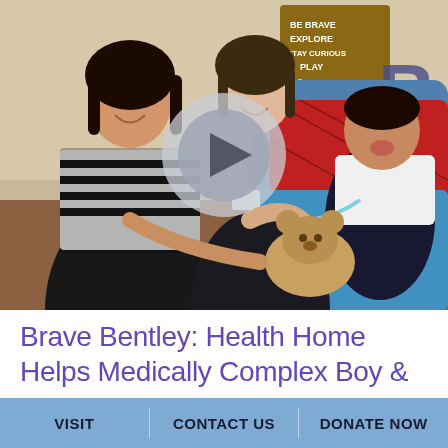[Figure (photo): A photograph showing two women (one in a striped black and white outfit, one in dark clothing with a lanyard/ID badge) with a young medically complex boy lying in a wheelchair-style bed with a teddy bear. The boy appears to be smiling. The room has decorative wall signs reading BE BRAVE, EXPLORE, STAY CURIOUS, PLAY, Free, and a large letter B on the wall. A semi-transparent video play button overlay is centered on the image.]
Brave Bentley: Health Home Helps Medically Complex Boy &
VISIT   CONTACT US   DONATE NOW